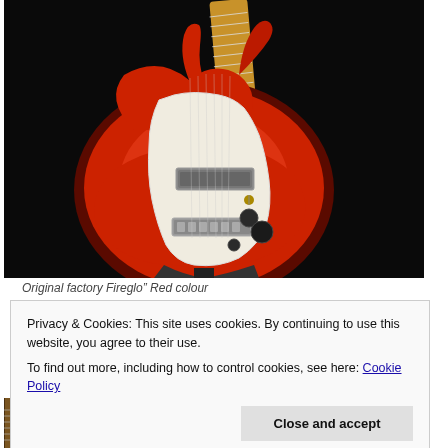[Figure (photo): Electric guitar with red sunburst body, cream/white pickguard, gold hardware including bridge and tailpiece, single pickup, and maple neck with fretboard, photographed against a black background on a stand.]
Original factory Fireglo" Red colour
Privacy & Cookies: This site uses cookies. By continuing to use this website, you agree to their use.
To find out more, including how to control cookies, see here: Cookie Policy
[Figure (photo): Partial view of a guitar neck/fretboard, cropped at the bottom of the page.]